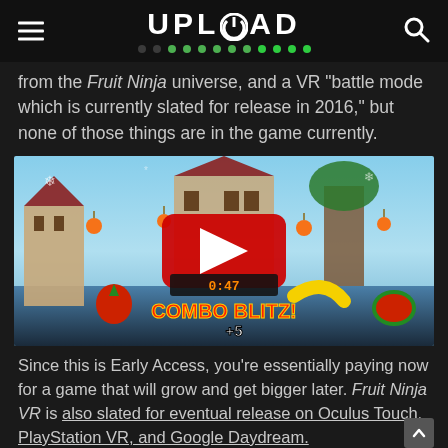UPLOAD
from the Fruit Ninja universe, and a VR "battle mode which is currently slated for release in 2016," but none of those things are in the game currently.
[Figure (screenshot): YouTube video thumbnail showing Fruit Ninja VR gameplay with a red play button, timer showing 0:47, and 'COMBO BLITZ! +5' text overlay on a colorful game scene]
Since this is Early Access, you're essentially paying now for a game that will grow and get bigger later. Fruit Ninja VR is also slated for eventual release on Oculus Touch, PlayStation VR, and Google Daydream.